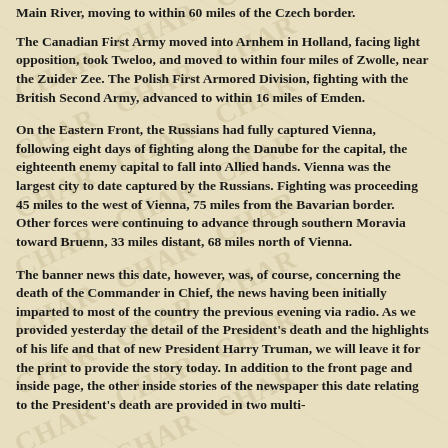Main River, moving to within 60 miles of the Czech border.
The Canadian First Army moved into Arnhem in Holland, facing light opposition, took Tweloo, and moved to within four miles of Zwolle, near the Zuider Zee. The Polish First Armored Division, fighting with the British Second Army, advanced to within 16 miles of Emden.
On the Eastern Front, the Russians had fully captured Vienna, following eight days of fighting along the Danube for the capital, the eighteenth enemy capital to fall into Allied hands. Vienna was the largest city to date captured by the Russians. Fighting was proceeding 45 miles to the west of Vienna, 75 miles from the Bavarian border. Other forces were continuing to advance through southern Moravia toward Bruenn, 33 miles distant, 68 miles north of Vienna.
The banner news this date, however, was, of course, concerning the death of the Commander in Chief, the news having been initially imparted to most of the country the previous evening via radio. As we provided yesterday the detail of the President's death and the highlights of his life and that of new President Harry Truman, we will leave it for the print to provide the story today. In addition to the front page and inside page, the other inside stories of the newspaper this date relating to the President's death are provided in two multi-